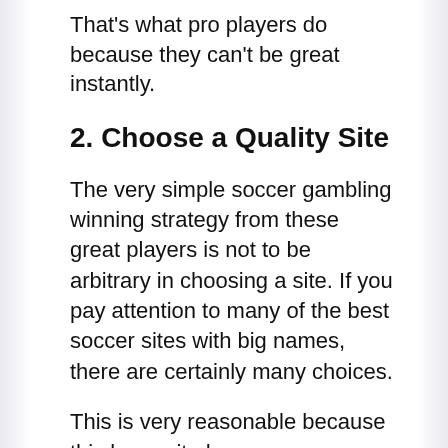That's what pro players do because they can't be great instantly.
2. Choose a Quality Site
The very simple soccer gambling winning strategy from these great players is not to be arbitrary in choosing a site. If you pay attention to many of the best soccer sites with big names, there are certainly many choices.
This is very reasonable because this large site has unquestionable quality as an online gambling provider. The purpose of choosing this quality site is to support the game for maximum results.
A quality site means providing fair games, no cheating and clear transactions. Even the various